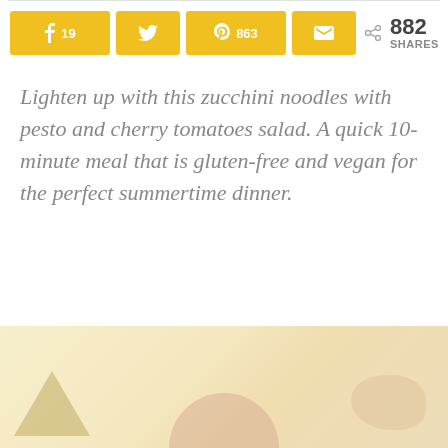[Figure (infographic): Social share buttons row: Facebook (19), Twitter, Pinterest (863), Email, and total 882 SHARES]
Lighten up with this zucchini noodles with pesto and cherry tomatoes salad. A quick 10-minute meal that is gluten-free and vegan for the perfect summertime dinner.
[Figure (photo): Partial view of a food photo at the bottom of the page, showing warm tones consistent with a zucchini noodle dish]